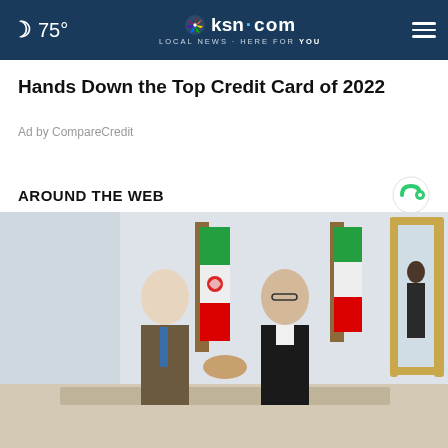75° ksn.com LOCAL NEWS·HERE FOR YOU
Hands Down the Top Credit Card of 2022
Ad by CompareCredit
AROUND THE WEB
[Figure (photo): Two men in suits shaking hands in front of Iranian flags in an ornate room. A third person is visible in the background near a gold-framed mirror.]
New Homes From $277k In Northwest Indiana  Explore Homes